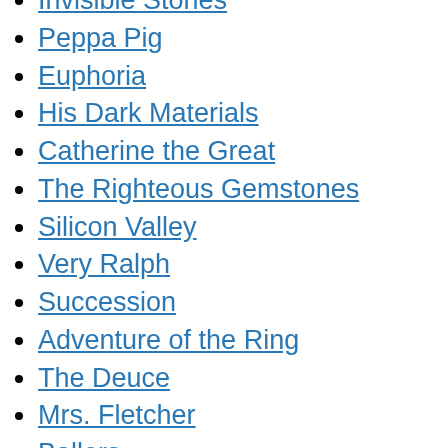Invisible Stories
Peppa Pig
Euphoria
His Dark Materials
Catherine the Great
The Righteous Gemstones
Silicon Valley
Very Ralph
Succession
Adventure of the Ring
The Deuce
Mrs. Fletcher
Ballers
Master of the Nine Dragon Fist
A Black Lady Sketch Show
Watchmen